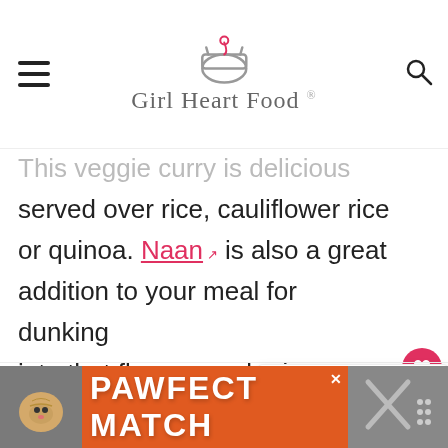Girl Heart Food
This veggie curry is delicious served over rice, cauliflower rice or quinoa. Naan is also a great addition to your meal for dunking into that flavour-packed sauce.
MORE EASY CURRY RECIPES
[Figure (other): What's Next widget showing Chickpea Cauliflower... with small food photo]
[Figure (other): Advertisement banner: PAWFECT MATCH with cat photo on orange background]